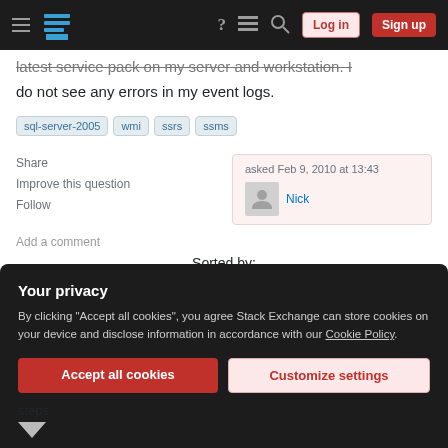Stack Exchange navigation bar with hamburger menu, logo, help, chat, search icons, Log in and Sign up buttons
latest service pack on my server and workstation. I do not see any errors in my event logs.
sql-server-2005
wmi
ssrs
ssms
Share
Improve this question
Follow
asked Feb 9, 2010 at 13:43
Nick
Add a comment
Sorted by:
Your privacy
By clicking "Accept all cookies", you agree Stack Exchange can store cookies on your device and disclose information in accordance with our Cookie Policy.
Accept all cookies
Customize settings
steps.